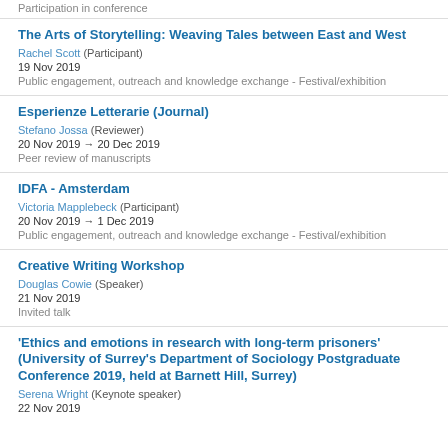Participation in conference
The Arts of Storytelling: Weaving Tales between East and West
Rachel Scott (Participant)
19 Nov 2019
Public engagement, outreach and knowledge exchange - Festival/exhibition
Esperienze Letterarie (Journal)
Stefano Jossa (Reviewer)
20 Nov 2019 → 20 Dec 2019
Peer review of manuscripts
IDFA - Amsterdam
Victoria Mapplebeck (Participant)
20 Nov 2019 → 1 Dec 2019
Public engagement, outreach and knowledge exchange - Festival/exhibition
Creative Writing Workshop
Douglas Cowie (Speaker)
21 Nov 2019
Invited talk
'Ethics and emotions in research with long-term prisoners' (University of Surrey's Department of Sociology Postgraduate Conference 2019, held at Barnett Hill, Surrey)
Serena Wright (Keynote speaker)
22 Nov 2019